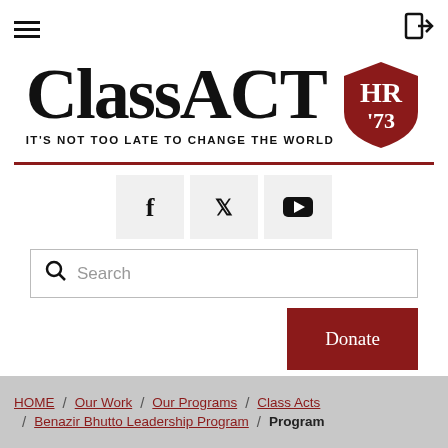[Figure (logo): ClassACT HR '73 logo with shield badge and tagline IT'S NOT TOO LATE TO CHANGE THE WORLD]
[Figure (infographic): Social media icons: Facebook, Twitter, YouTube]
Search
Donate
HOME / Our Work / Our Programs / Class Acts / Benazir Bhutto Leadership Program / Program